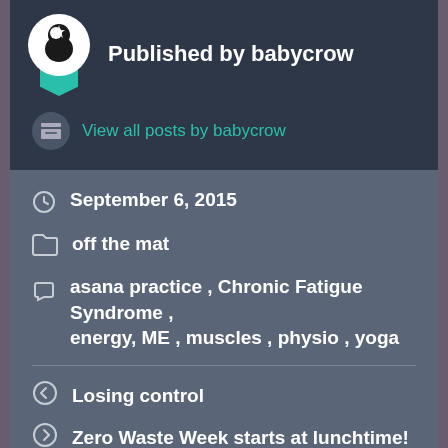Published by babycrow
View all posts by babycrow
September 6, 2015
off the mat
asana practice , Chronic Fatigue Syndrome , energy, ME , muscles , physio , yoga
Losing control
Zero Waste Week starts at lunchtime!
8 thoughts on "“You are not a ti...”"